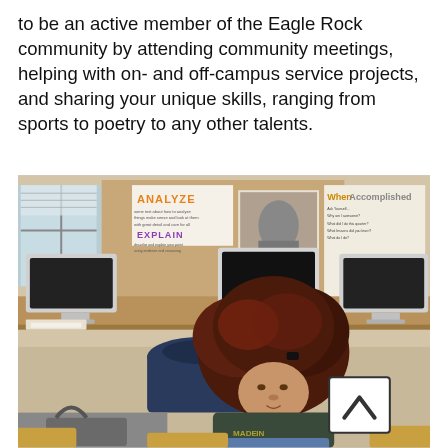to be an active member of the Eagle Rock community by attending community meetings, helping with on- and off-campus service projects, and sharing your unique skills, ranging from sports to poetry to any other talents.
[Figure (photo): A student with curly reddish-brown hair leaning over a desk in a classroom. Behind her are iMac computers, educational posters on the wall including ones labeled 'ANALYZE' and 'EXPLAIN', and a black-and-white portrait photograph pinned to the wall. A scroll-to-top button with a caret icon is visible in the lower right of the image.]